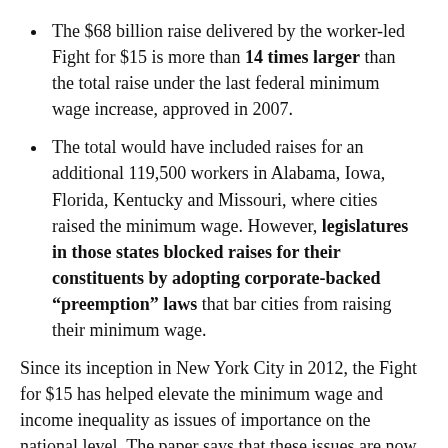The $68 billion raise delivered by the worker-led Fight for $15 is more than 14 times larger than the total raise under the last federal minimum wage increase, approved in 2007.
The total would have included raises for an additional 119,500 workers in Alabama, Iowa, Florida, Kentucky and Missouri, where cities raised the minimum wage. However, legislatures in those states blocked raises for their constituents by adopting corporate-backed "preemption" laws that bar cities from raising their minimum wage.
Since its inception in New York City in 2012, the Fight for $15 has helped elevate the minimum wage and income inequality as issues of importance on the national level. The paper says that these issues are now part of the platform of one of the major political parties and lawmakers